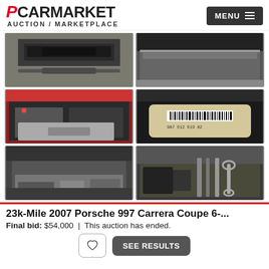PCARMARKET AUCTION / MARKETPLACE
[Figure (photo): Car interior console/stereo unit photo 1]
[Figure (photo): Car interior dark storage area photo 2]
[Figure (photo): Car trunk/frunk open with components visible photo 3]
[Figure (photo): Porsche part with barcode label photo 4]
[Figure (photo): Car undercarriage/engine bay photo 5]
[Figure (photo): Car tool kit with wrench and tools photo 6]
23k-Mile 2007 Porsche 997 Carrera Coupe 6-...
Final bid: $54,000  |  This auction has ended.